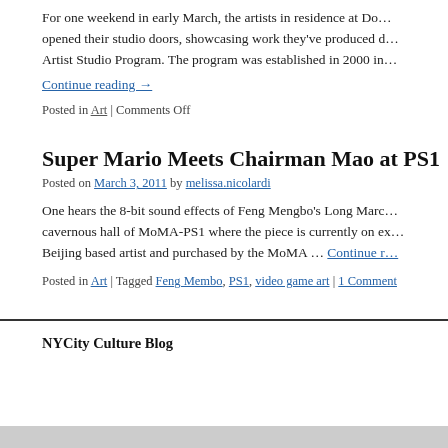For one weekend in early March, the artists in residence at Do... opened their studio doors, showcasing work they've produced d... Artist Studio Program. The program was established in 2000 in...
Continue reading →
Posted in Art | Comments Off
Super Mario Meets Chairman Mao at PS1
Posted on March 3, 2011 by melissa.nicolardi
One hears the 8-bit sound effects of Feng Mengbo's Long Marc... cavernous hall of MoMA-PS1 where the piece is currently on ex... Beijing based artist and purchased by the MoMA … Continue r...
Posted in Art | Tagged Feng Membo, PS1, video game art | 1 Comment
NYCity Culture Blog